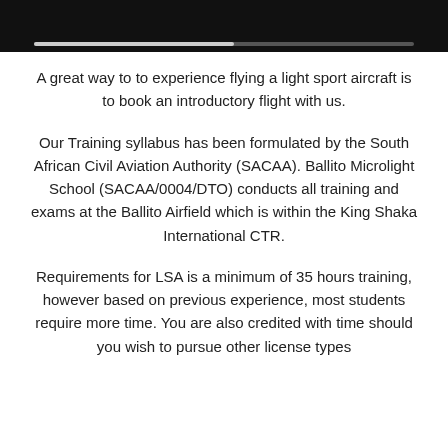[Figure (screenshot): Dark video player bar at top with a progress bar track, partially filled]
A great way to to experience flying a light sport aircraft is to book an introductory flight with us.
Our Training syllabus has been formulated by the South African Civil Aviation Authority (SACAA). Ballito Microlight School (SACAA/0004/DTO) conducts all training and exams at the Ballito Airfield which is within the King Shaka International CTR.
Requirements for LSA is a minimum of 35 hours training, however based on previous experience, most students require more time. You are also credited with time should you wish to pursue other license types